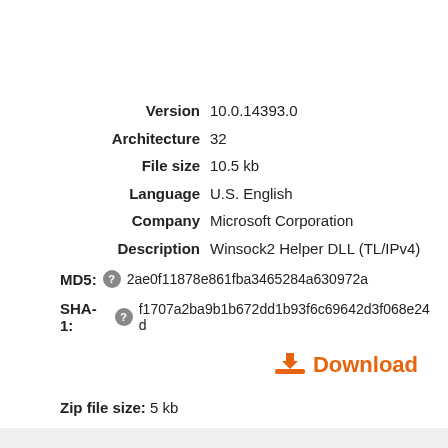| Field | Value |
| --- | --- |
| Version | 10.0.14393.0 |
| Architecture | 32 |
| File size | 10.5 kb |
| Language | U.S. English |
| Company | Microsoft Corporation |
| Description | Winsock2 Helper DLL (TL/IPv4) |
MD5:  2ae0f11878e861fba3465284a630972a
SHA-1:  f1707a2ba9b1b672dd1b93f6c69642d3f068e24d
Download
Zip file size:  5 kb